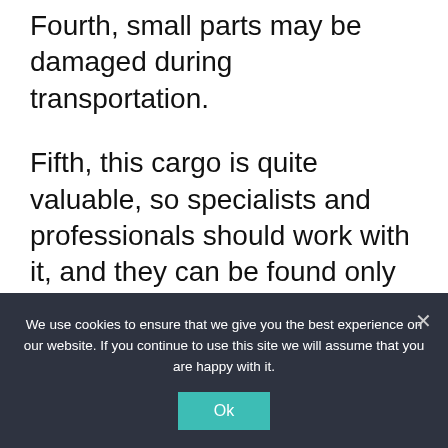Fourth, small parts may be damaged during transportation.
Fifth, this cargo is quite valuable, so specialists and professionals should work with it, and they can be found only in an experienced company but not on your own.
Company's functions
We use cookies to ensure that we give you the best experience on our website. If you continue to use this site we will assume that you are happy with it.